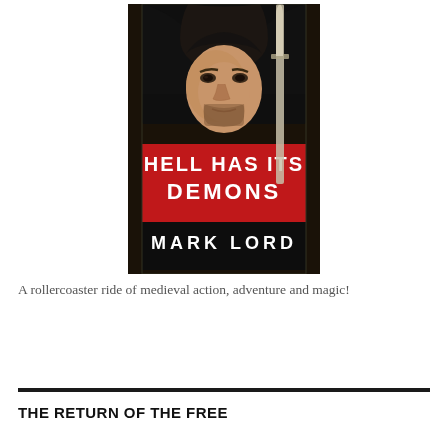[Figure (illustration): Book cover for 'Hell Has Its Demons' by Mark Lord. Shows a hooded man with a weathered face close-up, holding a sword. A bold red banner with white text reads 'HELL HAS ITS DEMONS' and below in white text 'MARK LORD'. Dark, dramatic medieval fantasy styling.]
A rollercoaster ride of medieval action, adventure and magic!
THE RETURN OF THE FREE